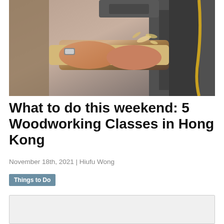[Figure (photo): Close-up photo of hands working with wood at a woodworking machine, wood shavings visible, person wearing a watch and apron]
What to do this weekend: 5 Woodworking Classes in Hong Kong
November 18th, 2021 | Hiufu Wong
Things to Do
[Figure (photo): Second image placeholder box (light grey, partially visible)]